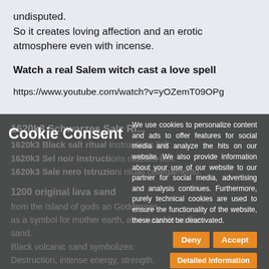undisputed.
So it creates loving affection and an erotic atmosphere even with incense.
Watch a real Salem witch cast a love spell
https://www.youtube.com/watch?v=yOZemT09OPg
1620k3 Schwarzes Salz Ritual instructions link:
1620k3 Black salt ritual instructions link:
1620k3 Sel noir Instructions rituelles lien:
1620k3 Sale nero Istruzioni rituali collegamento:

1200 original lava sand
from the Island of gods and Goddesses,
as a symbol for mother earth, also suitable as fire sand.
Black volcanic sand symbolizes:
Destruction, intense energy, strength,
Cookie Consent
We use cookies to personalize content and ads to offer features for social media and analyze the hits on our website. We also provide information about your use of our website to our partner for social media, advertising and analysis continues. Furthermore, purely technical cookies are used to ensure the functionality of the website, these cannot be deactivated.
Deny
Accept
Detailed Information